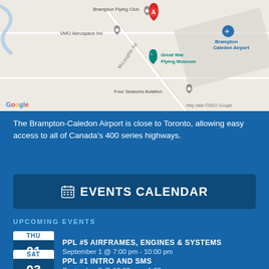[Figure (map): Google Maps screenshot showing Brampton Flying Club, VMO Aerospace Inc, Great War Flying Museum, Brampton Caledon Airport, Four Seasons Aviation, with a red marker A and McLaughlin Rd visible. Map data ©2022 Google.]
The Brampton-Caledon Airport is close to Toronto, allowing easy access to all of Canada's 400 series highways.
EVENTS CALENDAR
UPCOMING EVENTS
PPL #5 AIRFRAMES, ENGINES & SYSTEMS
September 1 @ 7:00 pm - 10:00 pm
PPL #1 INTRO AND SMS
September 3 @ 10:00 am - 1:00 pm